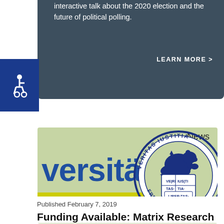interactive talk about the 2020 election and the future of political polling.
LEARN MORE >
[Figure (logo): Accessibility wheelchair icon in white on dark blue background]
[Figure (logo): Freie Universität Berlin circular seal with bear and text VERITAS IUSTITIA FREIE UNIVERSITÄT, showing VE|RI|TAS, IUS|TI|TIA and LIBERTAS in shield]
News
versität
Published February 7, 2019
Funding Available: Matrix Research